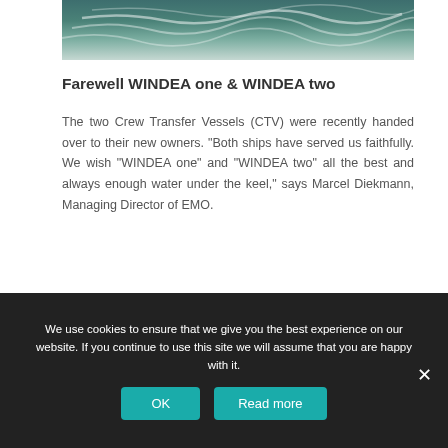[Figure (photo): Aerial view of ocean waves with white foam patterns on teal-green water]
Farewell WINDEA one & WINDEA two
The two Crew Transfer Vessels (CTV) were recently handed over to their new owners. "Both ships have served us faithfully. We wish "WINDEA one" and "WINDEA two" all the best and always enough water under the keel," says Marcel Diekmann, Managing Director of EMO.
We use cookies to ensure that we give you the best experience on our website. If you continue to use this site we will assume that you are happy with it.